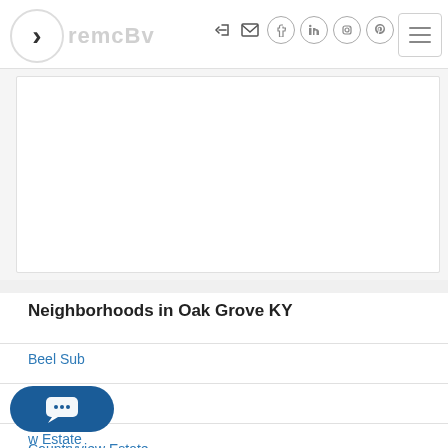[Figure (logo): Website logo with chevron symbol and stylized text]
[Figure (screenshot): Navigation icons: login, email, facebook, linkedin, instagram, pinterest, and hamburger menu button]
[Figure (other): White content card area]
Neighborhoods in Oak Grove KY
Beel Sub
BEELS
Countryview Estate
Countryview Estate
[Figure (other): Chat bubble button with ellipsis icon]